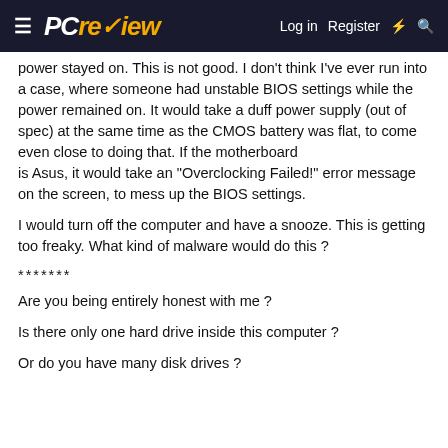≡ PCreview  Log in  Register  ⚡ 🔍
power stayed on. This is not good. I don't think I've ever run into a case, where someone had unstable BIOS settings while the power remained on. It would take a duff power supply (out of spec) at the same time as the CMOS battery was flat, to come even close to doing that. If the motherboard is Asus, it would take an "Overclocking Failed!" error message on the screen, to mess up the BIOS settings.
I would turn off the computer and have a snooze. This is getting too freaky. What kind of malware would do this ?
*******
Are you being entirely honest with me ?
Is there only one hard drive inside this computer ?
Or do you have many disk drives ?